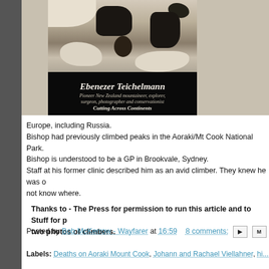[Figure (photo): Book cover for 'Ebenezer Teichelmann' showing a black and white/sepia aerial or mountain photograph on the top half, and text on a black background on the lower half. Title reads 'Ebenezer Teichelmann', subtitle 'Pioneer New Zealand mountaineer, explorer, surgeon, photographer and conservationist', tagline 'Cutting Across Continents']
Europe, including Russia.
Bishop had previously climbed peaks in the Aoraki/Mt Cook National Park.
Bishop is understood to be a GP in Brookvale, Sydney.
Staff at his former clinic described him as an avid climber. They knew he was on not know where.
Thanks to - The Press for permission to run this article and to Stuff for p two photos of climbers.
Posted by Bob McKerrow - Wayfarer at 16:59   8 comments:
Labels: Deaths on Aoraki Mount Cook, Johann and Rachael Viellahner, hi...